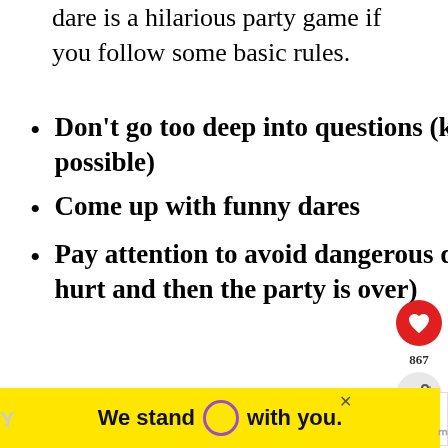dare is a hilarious party game if you follow some basic rules.
Don't go too deep into questions (keep it fun and as clean as possible)
Come up with funny dares
Pay attention to avoid dangerous dares (someone might get hurt and then the party is over)
[Figure (other): Social media sidebar with heart/like button showing 867 likes and a share button]
[Figure (other): What's Next panel showing a thumbnail and text: Embarrassing Questions:...]
[Figure (other): Yellow advertisement banner reading: We stand O with you.]